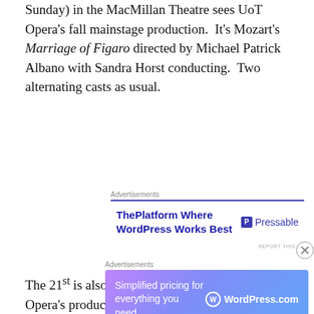Sunday) in the MacMillan Theatre sees UoT Opera's fall mainstage production.  It's Mozart's Marriage of Figaro directed by Michael Patrick Albano with Sandra Horst conducting.  Two alternating casts as usual.
[Figure (other): Advertisement banner for Pressable: 'ThePlatform Where WordPress Works Best' with Pressable logo]
The 21st is also opening night for Toronto City Opera's production of Offenbach's Tales of Hoffmann at the Al Green Theatre.  It's on at 7.30pm on the 21st, 3,30pm on the 23rd and 3pm on the 24th.  Jessica Derventzis directs with a musical team of Jennifer Tung and Ivan Jovanovic.  Nicole Dubinsky is singing the heroine in all three acts; a
[Figure (other): Advertisement banner for WordPress.com: 'Simplified pricing for everything you need.']